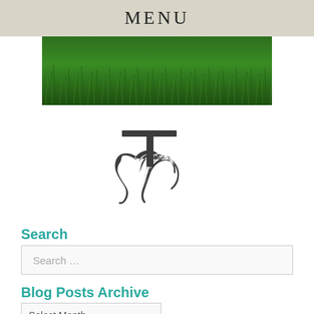MENU
[Figure (photo): Green grass lawn photograph used as header banner image]
[Figure (logo): Decorative monogram logo with letters T and M intertwined in an elegant serif/script style, dark gray color]
Search
Search …
Blog Posts Archive
Select Month